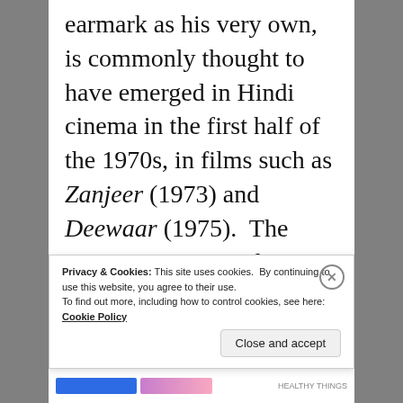earmark as his very own, is commonly thought to have emerged in Hindi cinema in the first half of the 1970s, in films such as Zanjeer (1973) and Deewaar (1975).  The 1970s were certainly turbulent times:  early in the decade India and Pakistan went to war, and not long after India would attempt to have itself partly admitted into the club of nuclear states with a
Privacy & Cookies: This site uses cookies.  By continuing to use this website, you agree to their use.
To find out more, including how to control cookies, see here: Cookie Policy
Close and accept